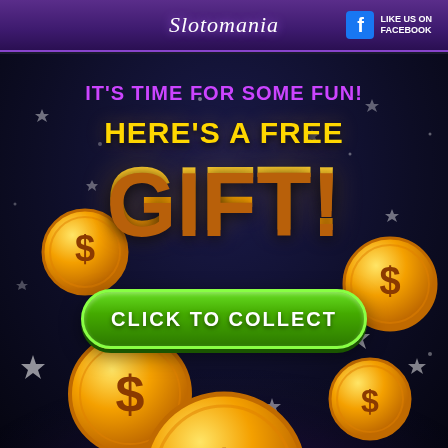Slotomania — LIKE US ON FACEBOOK
[Figure (illustration): Promotional banner for Slotomania slot game app showing gold coins with dollar signs on a dark space background with purple glow, star sparkles, and a green 'CLICK TO COLLECT' button. Text reads: IT'S TIME FOR SOME FUN! HERE'S A FREE GIFT!]